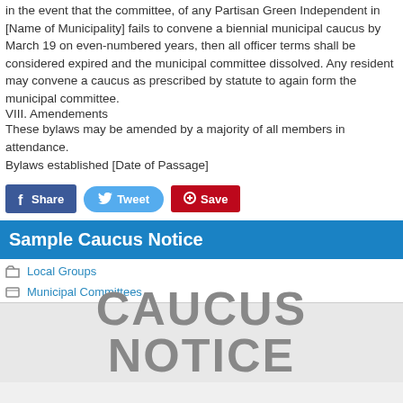in the event that the committee, of any Partisan Green Independent in [Name of Municipality] fails to convene a biennial municipal caucus by March 19 on even-numbered years, then all officer terms shall be considered expired and the municipal committee dissolved. Any resident may convene a caucus as prescribed by statute to again form the municipal committee.
VIII. Amendements
These bylaws may be amended by a majority of all members in attendance.
Bylaws established [Date of Passage]
[Figure (other): Social sharing buttons: Share (Facebook), Tweet (Twitter), Save (Pinterest)]
Sample Caucus Notice
Local Groups
Municipal Committees
CAUCUS NOTICE